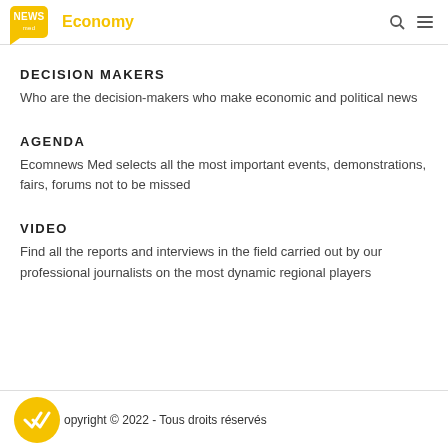NEWS med Economy
DECISION MAKERS
Who are the decision-makers who make economic and political news
AGENDA
Ecomnews Med selects all the most important events, demonstrations, fairs, forums not to be missed
VIDEO
Find all the reports and interviews in the field carried out by our professional journalists on the most dynamic regional players
Copyright © 2022 - Tous droits réservés